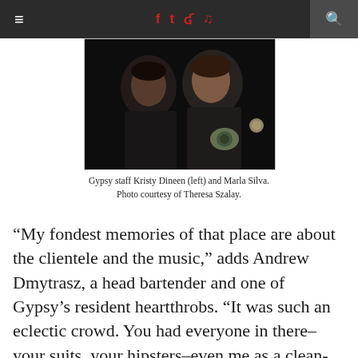≡  f  t  )))  ♪  🔍
[Figure (photo): A partial photo showing people, with a visible tattoo on a hand or arm, dark background.]
Gypsy staff Kristy Dineen (left) and Marla Silva. Photo courtesy of Theresa Szalay.
“My fondest memories of that place are about the clientele and the music,” adds Andrew Dmytrasz, a head bartender and one of Gypsy’s resident heartthrobs. “It was such an eclectic crowd. You had everyone in there–your suits, your hipsters–even me as a clean-cut Mississauga boy, I kind of fit in there too, somehow. It was an artsy, but very open place.”